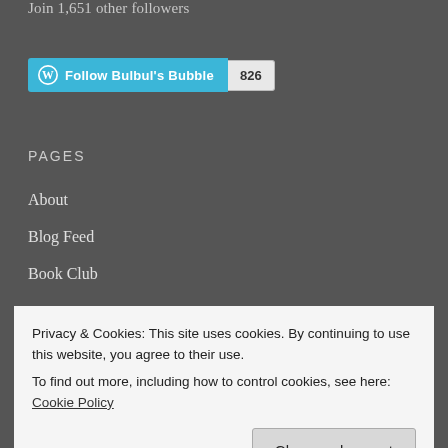Join 1,651 other followers
[Figure (other): WordPress Follow button for Bulbul's Bubble with follower count 826]
PAGES
About
Blog Feed
Book Club
Contact Me
Privacy & Cookies: This site uses cookies. By continuing to use this website, you agree to their use.
To find out more, including how to control cookies, see here: Cookie Policy
Close and accept
Monthly Writing Resources!